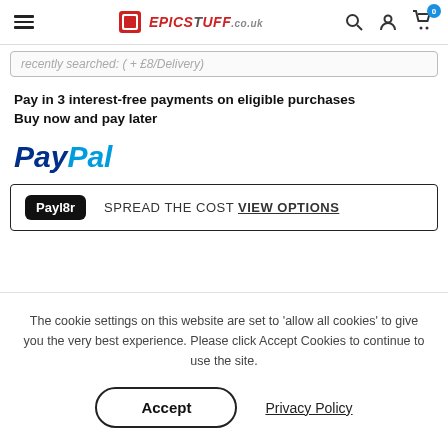EpicStuff.co.uk navigation header with hamburger menu, logo, search, account, and cart icons
Recently viewed... (partially visible search text)
Pay in 3 interest-free payments on eligible purchases Buy now and pay later
[Figure (logo): PayPal logo in blue italic bold text]
Payl8r  SPREAD THE COST VIEW OPTIONS
The cookie settings on this website are set to 'allow all cookies' to give you the very best experience. Please click Accept Cookies to continue to use the site.
Accept  Privacy Policy